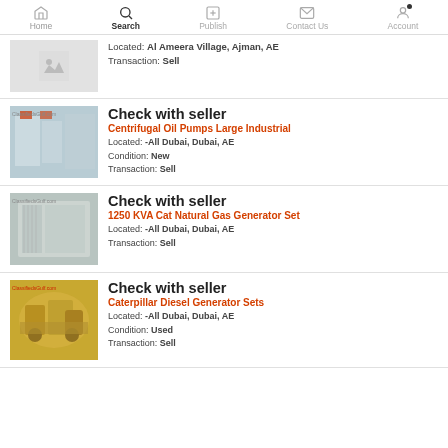Home | Search | Publish | Contact Us | Account
Located: Al Ameera Village, Ajman, AE | Transaction: Sell
Check with seller | Centrifugal Oil Pumps Large Industrial | Located: -All Dubai, Dubai, AE | Condition: New | Transaction: Sell
Check with seller | 1250 KVA Cat Natural Gas Generator Set | Located: -All Dubai, Dubai, AE | Transaction: Sell
Check with seller | Caterpillar Diesel Generator Sets | Located: -All Dubai, Dubai, AE | Condition: Used | Transaction: Sell